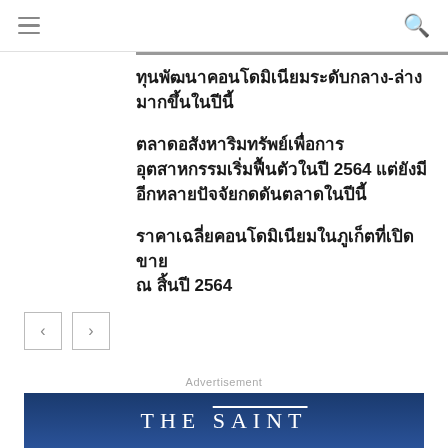Navigation bar with hamburger menu and search icon
ทุนพัฒนาคอนโดมิเนียมระดับกลาง-ล่างมากขึ้นในปีนี้
ตลาดอสังหาริมทรัพย์เพื่อการอุตสาหกรรมเริ่มฟื้นตัวในปี 2564 แต่ยังมีอีกหลายปัจจัยกดดันตลาดในปีนี้
ราคาเฉลี่ยคอนโดมิเนียมในภูเก็ตที่เปิดขาย ณ สิ้นปี 2564
Advertisement
[Figure (logo): THE SAINT logo on dark blue gradient banner]